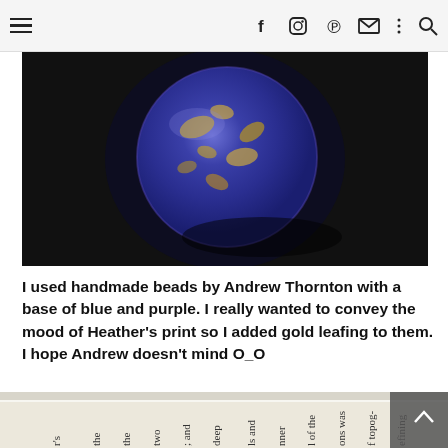≡  f  ⊙  p  ✉  ⋮  🔍
[Figure (photo): Close-up photograph of a handmade bead with blue and purple base covered in gold leafing, set against a dark background.]
I used handmade beads by Andrew Thornton with a base of blue and purple. I really wanted to convey the mood of Heather's print so I added gold leafing to them. I hope Andrew doesn't mind O_O
[Figure (photo): Photograph of book pages photographed from the side/top, showing text printed sideways on the page edges.]